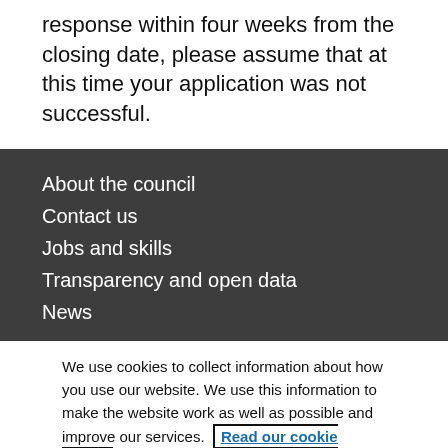response within four weeks from the closing date, please assume that at this time your application was not successful.
About the council
Contact us
Jobs and skills
Transparency and open data
News
We use cookies to collect information about how you use our website. We use this information to make the website work as well as possible and improve our services. Read our cookie policy
Change your cookie settings
Accept all cookies